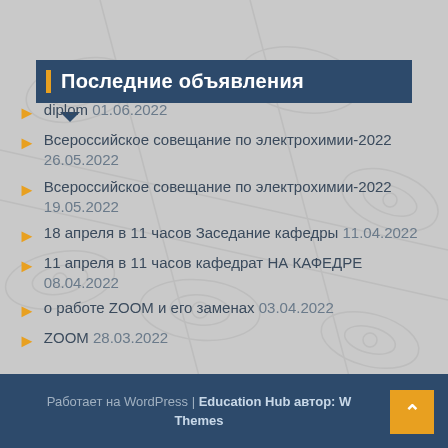Последние объявления
diplom 01.06.2022
Всероссийское совещание по электрохимии-2022 26.05.2022
Всероссийское совещание по электрохимии-2022 19.05.2022
18 апреля в 11 часов Заседание кафедры 11.04.2022
11 апреля в 11 часов кафедрат НА КАФЕДРЕ 08.04.2022
о работе ZOOM и его заменах 03.04.2022
ZOOM 28.03.2022
Работает на WordPress | Education Hub автор: WEN Themes